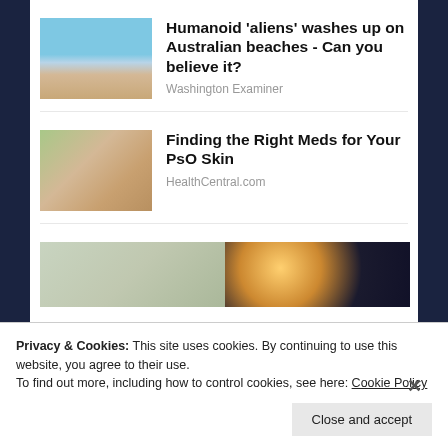[Figure (photo): Beach scene with ocean waves and sandy shore under blue sky]
Humanoid 'aliens' washes up on Australian beaches - Can you believe it?
Washington Examiner
[Figure (photo): Close-up of a hand holding small pills or medication]
Finding the Right Meds for Your PsO Skin
HealthCentral.com
[Figure (photo): Partial view of a store or market scene on left, bokeh lights on dark background on right]
Privacy & Cookies: This site uses cookies. By continuing to use this website, you agree to their use.
To find out more, including how to control cookies, see here: Cookie Policy
Close and accept